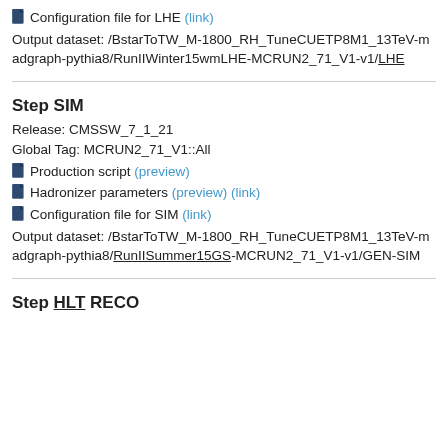Configuration file for LHE (link)
Output dataset: /BstarToTW_M-1800_RH_TuneCUETP8M1_13TeV-madgraph-pythia8/RunIIWinter15wmLHE-MCRUN2_71_V1-v1/LHE
Step SIM
Release: CMSSW_7_1_21
Global Tag: MCRUN2_71_V1::All
Production script (preview)
Hadronizer parameters (preview) (link)
Configuration file for SIM (link)
Output dataset: /BstarToTW_M-1800_RH_TuneCUETP8M1_13TeV-madgraph-pythia8/RunIISummer15GS-MCRUN2_71_V1-v1/GEN-SIM
Step HLT RECO